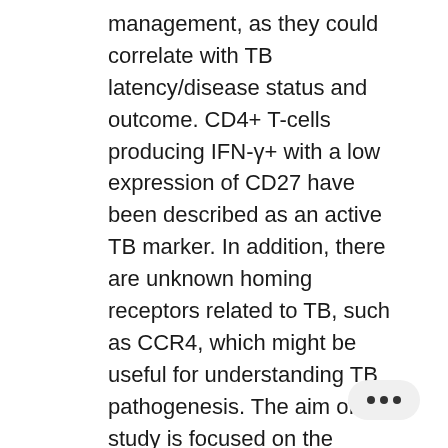management, as they could correlate with TB latency/disease status and outcome. CD4+ T-cells producing IFN-γ+ with a low expression of CD27 have been described as an active TB marker. In addition, there are unknown homing receptors related to TB, such as CCR4, which might be useful for understanding TB pathogenesis. The aim of our study is focused on the assessment of several T-cell subsets to understand immune-mechanisms in TB. This phenotypic immune characterization is based on the study of the specific immune responses of T-cells expressing CD27 and/or CCR4 homing markers. Subjects enrolled in the study were: (i) 22 adult patients with active TB, and (ii) 26 individuals with latent TB infection (LTBI). Blood